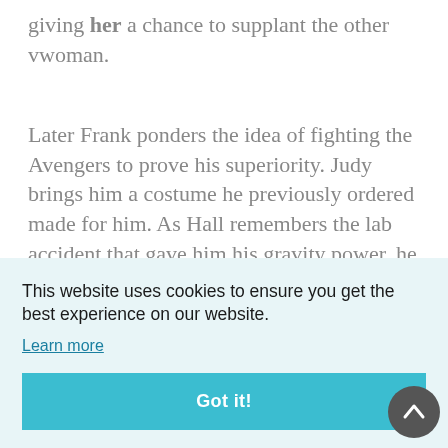giving her a chance to supplant the other vwoman.
Later Frank ponders the idea of fighting the Avengers to prove his superiority. Judy brings him a costume he previously ordered made for him. As Hall remembers the lab accident that gave him his gravity power, he dons the costume and
This website uses cookies to ensure you get the best experience on our website.
Learn more
Got it!
But the Avengers (including Wonder